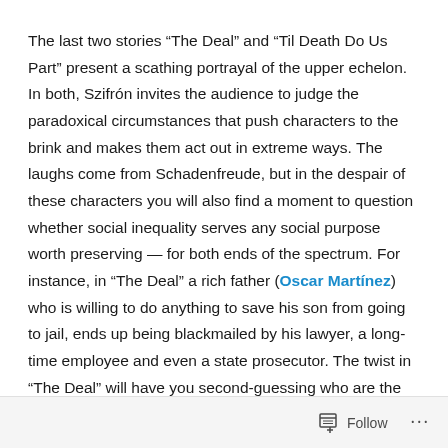The last two stories “The Deal” and “Til Death Do Us Part” present a scathing portrayal of the upper echelon. In both, Szifrón invites the audience to judge the paradoxical circumstances that push characters to the brink and makes them act out in extreme ways. The laughs come from Schadenfreude, but in the despair of these characters you will also find a moment to question whether social inequality serves any social purpose worth preserving — for both ends of the spectrum. For instance, in “The Deal” a rich father (Oscar Martínez) who is willing to do anything to save his son from going to jail, ends up being blackmailed by his lawyer, a long-time employee and even a state prosecutor. The twist in “The Deal” will have you second-guessing who are the winners and
Follow ...